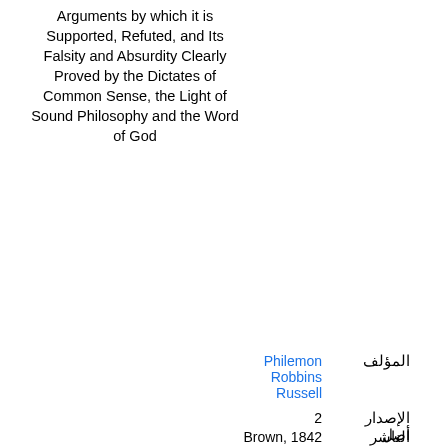Arguments by which it is Supported, Refuted, and Its Falsity and Absurdity Clearly Proved by the Dictates of Common Sense, the Light of Sound Philosophy and the Word of God
المؤلف  Philemon Robbins Russell
الإصدار  2
الناشر  Brown, 1842
أصل